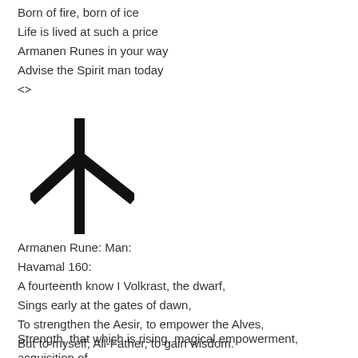Born of fire, born of ice
Life is lived at such a price
Armanen Runes in your way
Advise the Spirit man today
<>
[Figure (illustration): Armanen Rune symbol for Man: a vertical line with two diagonal arms extending downward-left and downward-right from the upper portion, resembling the letter Y or a tree/man shape.]
Armanen Rune: Man:
Havamal 160:
A fourteenth know I Volkrast, the dwarf,
Sings early at the gates of dawn,
To strengthen the Aesir, to empower the Alves,
But to myself, All-Father, to gain wisdom.
Strength, that which is rising, magical empowerment, acquisition of
Rising, raising, concentration of the hum...